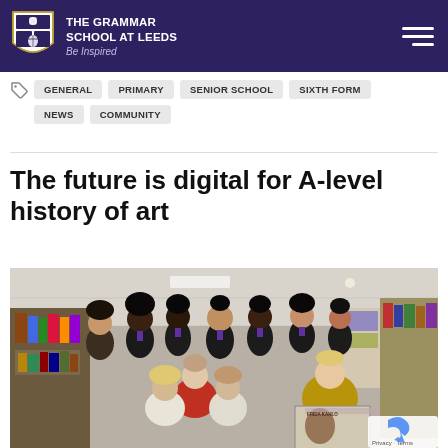THE GRAMMAR SCHOOL AT LEEDS
Be Inspired
GENERAL
PRIMARY
SENIOR SCHOOL
SIXTH FORM
NEWS
COMMUNITY
The future is digital for A-level history of art
[Figure (photo): Group photo of school students and a teacher in a library/classroom setting. Students wearing dark school uniforms with purple ties, one adult woman in yellow top holding a Frida Kahlo book.]